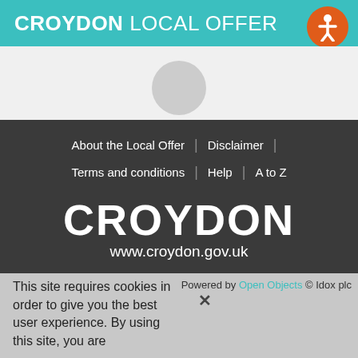CROYDON LOCAL OFFER
[Figure (illustration): Accessibility icon - orange circle with white person figure]
[Figure (illustration): Grey profile circle placeholder]
About the Local Offer
Disclaimer
Terms and conditions
Help
A to Z
CROYDON
www.croydon.gov.uk
© 2017 - Croydon Council
Powered by Open Objects © Idox plc
This site requires cookies in order to give you the best user experience. By using this site, you are